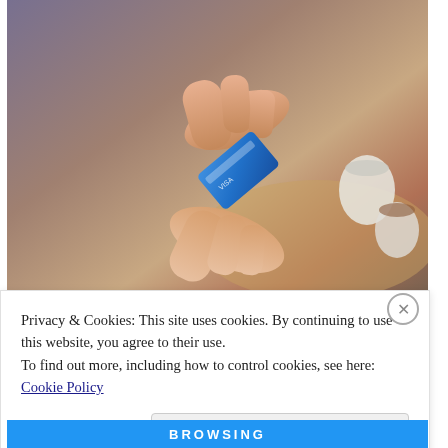[Figure (photo): Photograph of two hands exchanging a blue credit card, with coffee cups visible in the background. Overlaid text at top-left reads 'ALWAYS TELL A STORY.' attributed to ADAM CAPLAND in a ribbon banner.]
Privacy & Cookies: This site uses cookies. By continuing to use this website, you agree to their use. To find out more, including how to control cookies, see here: Cookie Policy
Close and accept